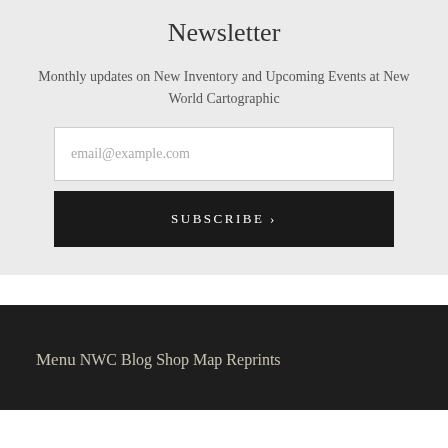Newsletter
Monthly updates on New Inventory and Upcoming Events at New World Cartographic
email@example.com
SUBSCRIBE ›
Menu
NWC Blog
Shop Map Reprints